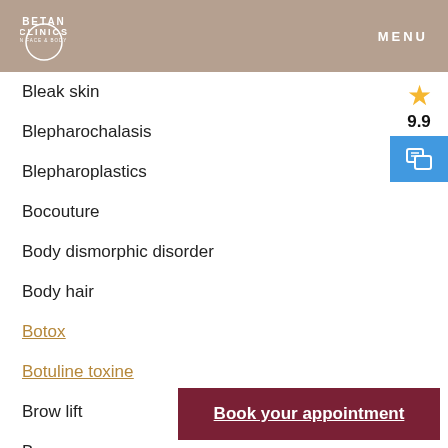BETAN CLINICS EUROPEAN FACE & BODY EXPERTS | MENU
Bleak skin
Blepharochalasis
Blepharoplastics
Bocouture
Body dismorphic disorder
Body hair
Botox
Botuline toxine
Brow lift
Brows
Bruxism
Buccinator
[Figure (other): Star rating icon with score 9.9 and a chat/compare icon in blue]
Book your appointment